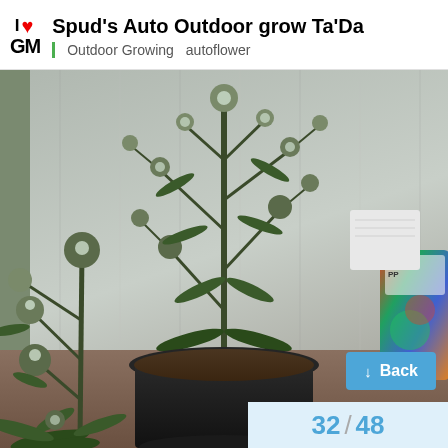Spud's Auto Outdoor grow Ta'Da | Outdoor Growing  autoflower
[Figure (photo): Cannabis plants in a black pot growing outdoors against a reflective metallic background, with budding flowers visible on multiple branches. A colorful bag (possibly fertilizer) is visible on the right.]
Back
32 / 48